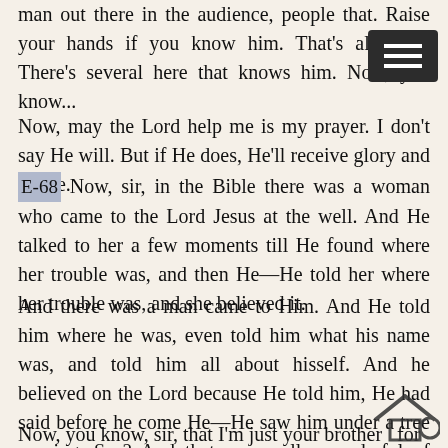man out there in the audience, people that. Raise your hands if you know him. That's all right. There's several here that knows him. Now, you know...
Now, may the Lord help me is my prayer. I don't say He will. But if He does, He'll receive glory and praise.
E-68 Now, sir, in the Bible there was a woman who came to the Lord Jesus at the well. And He talked to her a few moments till He found where her trouble was, and then He—He told her where her trouble was, and she believed it.
And there was a man came to Him. And He told him where he was, even told him what his name was, and told him all about hisself. And he believed on the Lord because He told him, He had said before he come He—He saw him under a tree praying. See? And that was really wonderful of course. And this fellow knew that only God could do that. That would be God again, wouldn't it?
Now, you know, sir, that I'm just your brother for